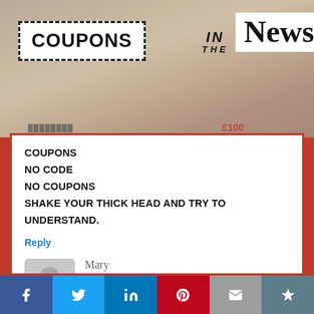[Figure (logo): Coupons in the News banner with dashed-border COUPONS box on left side and News logo on right, over a newspaper background image]
COUPONS
NO CODE
NO COUPONS
SHAKE YOUR THICK HEAD AND TRY TO UNDERSTAND.
Reply
Mary
May 6, 2017 at 12:32 pm
I understand, and it’s no deal. You should need to give them your phone number to print coupons.
[Figure (infographic): Social sharing bar with Facebook, Twitter, LinkedIn, Pinterest, Email, and Crown/bookmark icons]